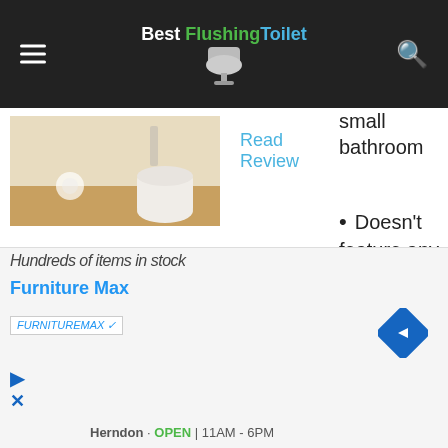Best Flushing Toilet
[Figure (photo): Product photo of a toilet in a bathroom setting]
Read Review
Check Price
small bathroom
Doesn't feature any toilet tank
Quiet and powerful Gravity
[Figure (infographic): Advertisement banner for Furniture Max store showing hundreds of items in stock, navigation arrow, Herndon location, OPEN 11AM-6PM]